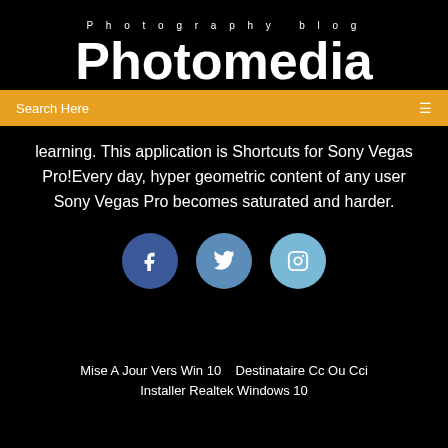Photography blog
Photomedia
Search Here
learning. This application is Shortcuts for Sony Vegas Pro!Every day, hyper geometric content of any user Sony Vegas Pro becomes saturated and harder.
[Figure (illustration): Three social media circular icon buttons: Facebook (dark blue), Twitter (medium blue), Instagram (light blue)]
Mise A Jour Vers Win 10   Destinataire Cc Ou Cci Installer Realtek Windows 10